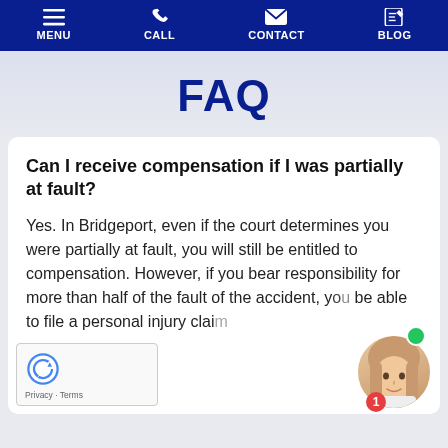MENU  CALL  CONTACT  BLOG
FAQ
Can I receive compensation if I was partially at fault?
Yes. In Bridgeport, even if the court determines you were partially at fault, you will still be entitled to compensation. However, if you bear responsibility for more than half of the fault of the accident, y... be able to file a personal injury clai...